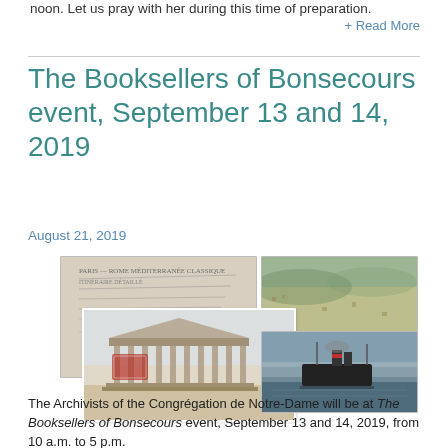noon. Let us pray with her during this time of preparation.
+ Read More
The Booksellers of Bonsecours event, September 13 and 14, 2019
August 21, 2019
[Figure (photo): Collage of historical images including a handwritten postcard, an aerial landscape view, a postcard of the Parthenon with a red stamp, and a painting of a ship at sea.]
The Archivists of the Congrégation de Notre-Dame will be at The Booksellers of Bonsecours event, September 13 and 14, 2019, from 10 a.m. to 5 p.m.
The Archives Services of the Congrégation de Notre-Dame will be taking part in the first edition of The Booksellers of Bonsecours event, an initiative of the Marguerite